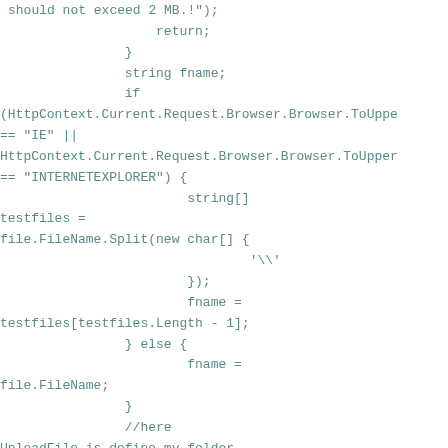should not exceed 2 MB.!");
                    return;
                }
                string fname;
                if
(HttpContext.Current.Request.Browser.Browser.ToUppe
== "IE" ||
HttpContext.Current.Request.Browser.Browser.ToUpper
== "INTERNETEXPLORER") {
                        string[]
testfiles =
file.FileName.Split(new char[] {
                                '\\'
                        });
                        fname =
testfiles[testfiles.Length - 1];
                } else {
                        fname =
file.FileName;
                }
                //here UploadFile is define my folder name , where files will be store.
                        string uploaddir
=
System.Configuration.ConfigurationManager.AppSettin
                        filedata =
Guid.NewGuid() + fname;
                        fname =